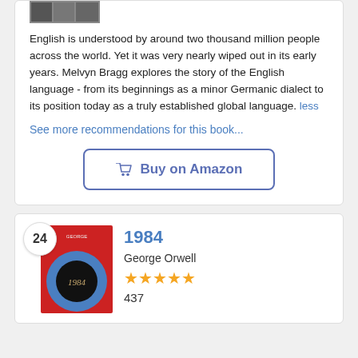[Figure (photo): Small book cover image at top of card]
English is understood by around two thousand million people across the world. Yet it was very nearly wiped out in its early years. Melvyn Bragg explores the story of the English language - from its beginnings as a minor Germanic dialect to its position today as a truly established global language. less
See more recommendations for this book...
🛒 Buy on Amazon
[Figure (photo): Book cover of 1984 by George Orwell - red background with blue circle and black inner circle with 1984 text]
1984
George Orwell
★★★★½
437